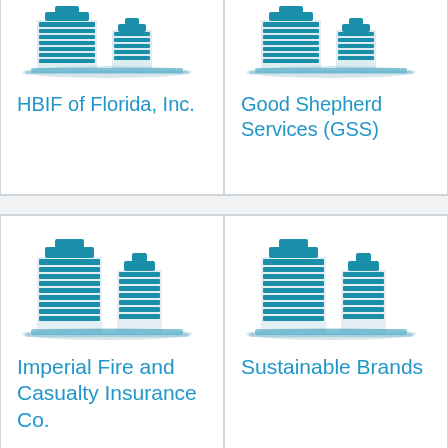[Figure (illustration): Blue building/skyscraper icon]
HBIF of Florida, Inc.
[Figure (illustration): Blue building/skyscraper icon]
Good Shepherd Services (GSS)
[Figure (illustration): Blue building/skyscraper icon]
Imperial Fire and Casualty Insurance Co.
[Figure (illustration): Blue building/skyscraper icon]
Sustainable Brands
[Figure (illustration): Blue building/skyscraper icon]
[Figure (illustration): Blue building/skyscraper icon]